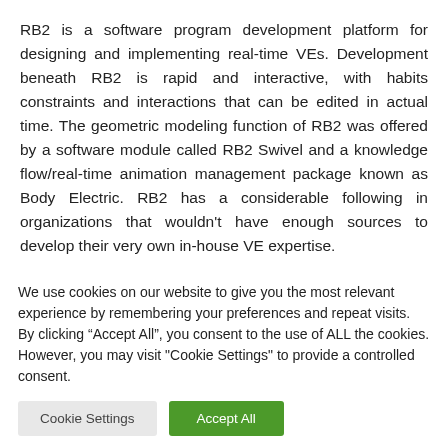RB2 is a software program development platform for designing and implementing real-time VEs. Development beneath RB2 is rapid and interactive, with habits constraints and interactions that can be edited in actual time. The geometric modeling function of RB2 was offered by a software module called RB2 Swivel and a knowledge flow/real-time animation management package known as Body Electric. RB2 has a considerable following in organizations that wouldn't have enough sources to develop their very own in-house VE expertise.
We use cookies on our website to give you the most relevant experience by remembering your preferences and repeat visits. By clicking “Accept All”, you consent to the use of ALL the cookies. However, you may visit "Cookie Settings" to provide a controlled consent.
Cookie Settings | Accept All